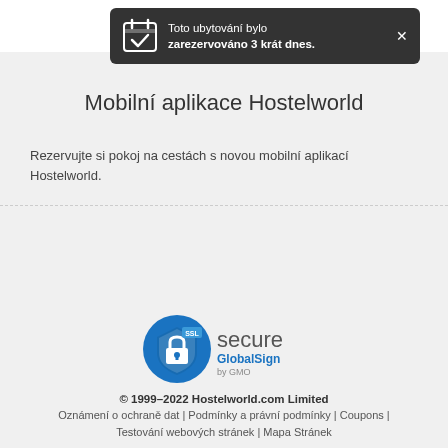[Figure (infographic): Dark notification banner with calendar/checkmark icon, text 'Toto ubytování bylo zarezervováno 3 krát dnes.' and close X button]
Mobilní aplikace Hostelworld
Rezervujte si pokoj na cestách s novou mobilní aplikací Hostelworld.
[Figure (logo): SSL Secure GlobalSign by GMO badge with blue padlock icon]
© 1999–2022 Hostelworld.com Limited
Oznámení o ochraně dat | Podmínky a právní podmínky | Coupons | Testování webových stránek | Mapa Stránek